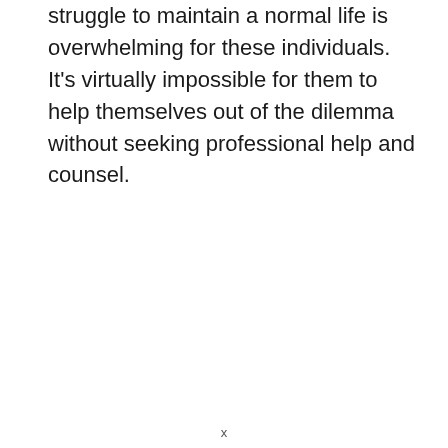struggle to maintain a normal life is overwhelming for these individuals. It's virtually impossible for them to help themselves out of the dilemma without seeking professional help and counsel.
x